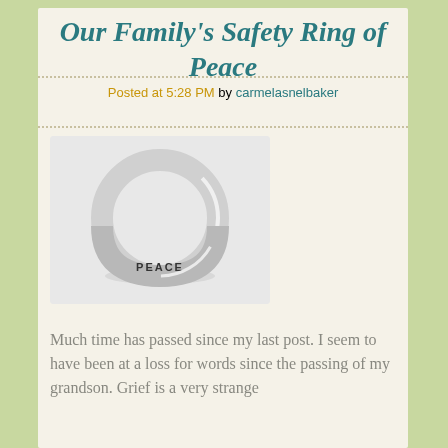Our Family's Safety Ring of Peace
Posted at 5:28 PM by carmelasnelbaker
[Figure (photo): A thin silver ring with the word PEACE engraved on the band, photographed on a white background.]
Much time has passed since my last post. I seem to have been at a loss for words since the passing of my grandson. Grief is a very strange